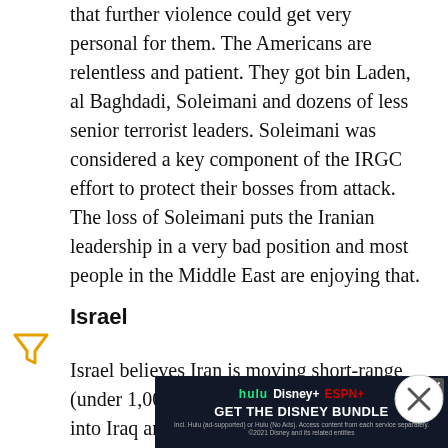that further violence could get very personal for them. The Americans are relentless and patient. They got bin Laden, al Baghdadi, Soleimani and dozens of less senior terrorist leaders. Soleimani was considered a key component of the IRGC effort to protect their bosses from attack. The loss of Soleimani puts the Iranian leadership in a very bad position and most people in the Middle East are enjoying that.
Israel
Israel believes Iran is moving short-range (under 1,000 kilometers) ballistic missiles into Iraq and concealing them in areas where pro-Iran militias are dominant. These would be used in the event of a war with Israel, along with rockets and missiles already in Lebanon and Syria. This would prob...
[Figure (infographic): Advertisement banner: Hulu Disney+ ESPN+ Get the Disney Bundle. Dark background with streaming service logos.]